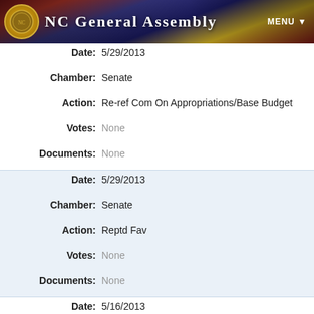NC General Assembly
| Field | Value |
| --- | --- |
| Date: | 5/29/2013 |
| Chamber: | Senate |
| Action: | Re-ref Com On Appropriations/Base Budget |
| Votes: | None |
| Documents: | None |
| Field | Value |
| --- | --- |
| Date: | 5/29/2013 |
| Chamber: | Senate |
| Action: | Reptd Fav |
| Votes: | None |
| Documents: | None |
| Field | Value |
| --- | --- |
| Date: | 5/16/2013 |
| Chamber: | Senate |
| Action: | Ref to Transportation. If fav, re-ref to Appropriations/Base Budget |
| Votes: | None |